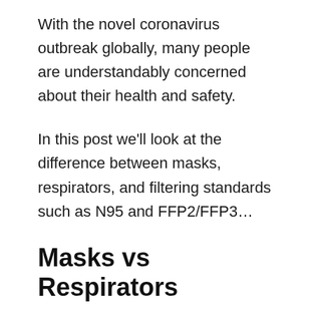With the novel coronavirus outbreak globally, many people are understandably concerned about their health and safety.
In this post we'll look at the difference between masks, respirators, and filtering standards such as N95 and FFP2/FFP3…
Masks vs Respirators
Before we go any further, lets just clarify on a technical difference between a “mask” and a “respirator”. In day to day language we often say mask, when referring to what are technically called